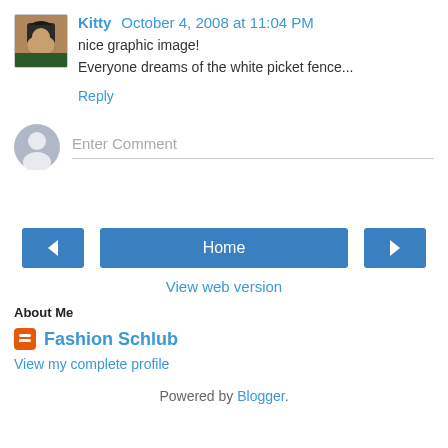Kitty October 4, 2008 at 11:04 PM
nice graphic image!
Everyone dreams of the white picket fence...
Reply
Enter Comment
[Figure (other): Navigation buttons: left arrow, Home button, right arrow]
View web version
About Me
Fashion Schlub
View my complete profile
Powered by Blogger.